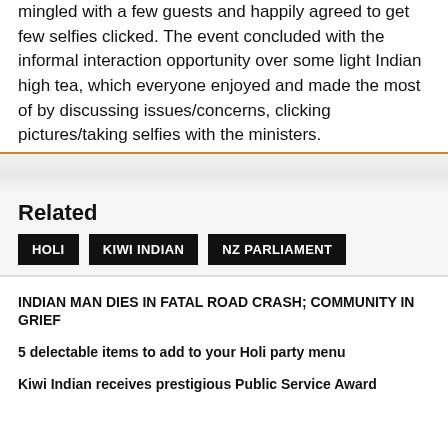mingled with a few guests and happily agreed to get few selfies clicked. The event concluded with the informal interaction opportunity over some light Indian high tea, which everyone enjoyed and made the most of by discussing issues/concerns, clicking pictures/taking selfies with the ministers.
Related
HOLI
KIWI INDIAN
NZ PARLIAMENT
INDIAN MAN DIES IN FATAL ROAD CRASH; COMMUNITY IN GRIEF
5 delectable items to add to your Holi party menu
Kiwi Indian receives prestigious Public Service Award